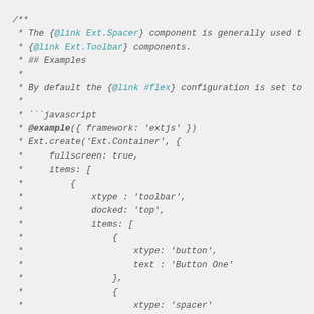/** * The {@link Ext.Spacer} component is generally used t * {@link Ext.Toolbar} components. * ## Examples * * * By default the {@link #flex} configuration is set to * * * ```javascript * @example({ framework: 'extjs' }) * Ext.create('Ext.Container', { *     fullscreen: true, *     items: [ *         { *             xtype : 'toolbar', *             docked: 'top', *             items: [ *                 { *                     xtype: 'button', *                     text : 'Button One' *                 }, *                 { *                     xtype: 'spacer' *                 },